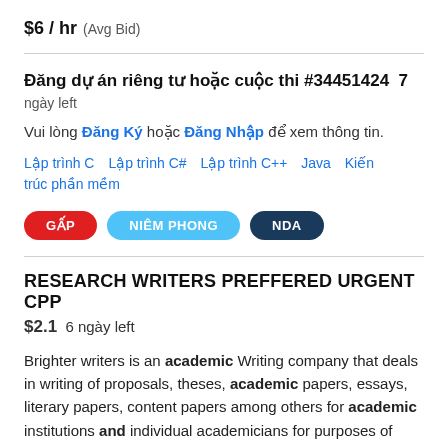$6 / hr  (Avg Bid)
Đăng dự án riêng tư hoặc cuộc thi #34451424  7 ngày left
Vui lòng Đăng Ký hoặc Đăng Nhập để xem thông tin.
Lập trình C   Lập trình C#   Lập trình C++   Java   Kiến trúc phần mềm
GẤP   NIÊM PHONG   NDA
RESEARCH WRITERS PREFFERED URGENT CPP
$2.1  6 ngày left
Brighter writers is an academic Writing company that deals in writing of proposals, theses, academic papers, essays, literary papers, content papers among others for academic institutions and individual academicians for purposes of studies being undertaken. We have been in